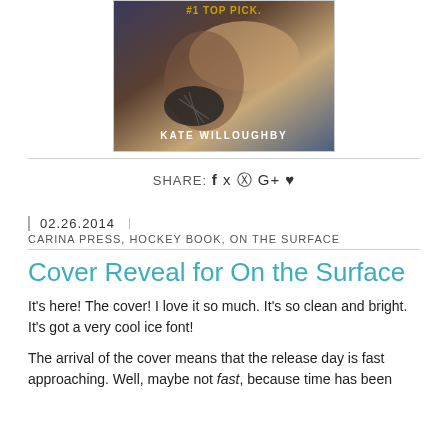[Figure (photo): Book cover image for 'On the Surface' by Kate Willoughby, showing two people's hands/torsos in dark tones with author name at bottom]
SHARE: f 🐦 ® G+ ♥
02.26.2014
CARINA PRESS, HOCKEY BOOK, ON THE SURFACE
Cover Reveal for On the Surface
It's here! The cover! I love it so much. It's so clean and bright. It's got a very cool ice font!
The arrival of the cover means that the release day is fast approaching. Well, maybe not fast, because time has been